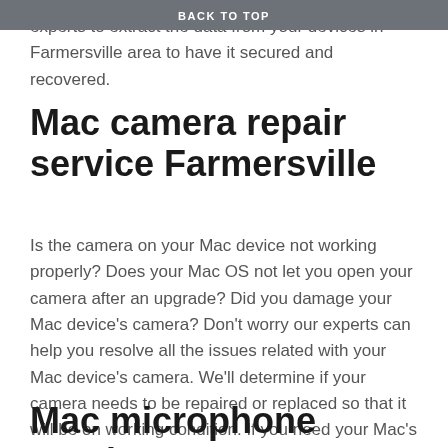experts to extract the data from your devices in Farmersville area to have it secured and recovered.
BACK TO TOP
Mac camera repair service Farmersville
Is the camera on your Mac device not working properly? Does your Mac OS not let you open your camera after an upgrade? Did you damage your Mac device's camera? Don't worry our experts can help you resolve all the issues related with your Mac device's camera. We'll determine if your camera needs to be repaired or replaced so that it will be on working condition. If you need your Mac's camera problem solved as soon as possible in Farmersville area contact our experts today.
Mac microphone repair